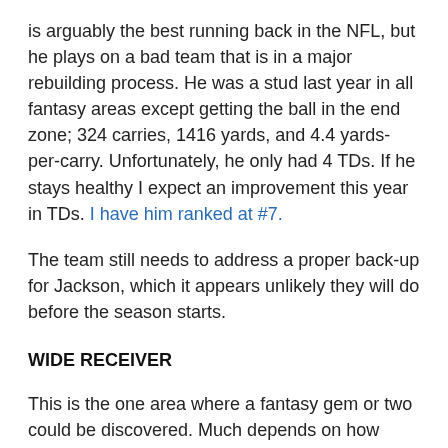is arguably the best running back in the NFL, but he plays on a bad team that is in a major rebuilding process. He was a stud last year in all fantasy areas except getting the ball in the end zone; 324 carries, 1416 yards, and 4.4 yards-per-carry. Unfortunately, he only had 4 TDs. If he stays healthy I expect an improvement this year in TDs. I have him ranked at #7.
The team still needs to address a proper back-up for Jackson, which it appears unlikely they will do before the season starts.
WIDE RECEIVER
This is the one area where a fantasy gem or two could be discovered. Much depends on how Feeley or Bradford gel with each player, and if the offensive line can give him